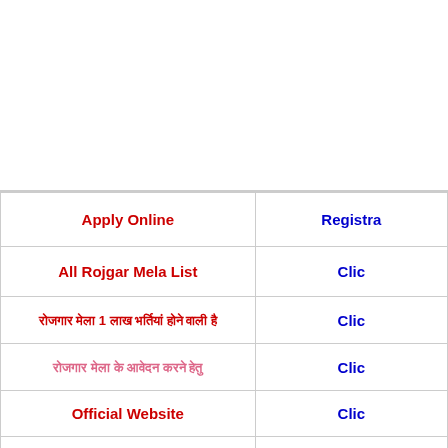| Apply Online | Registra... |
| --- | --- |
| Apply Online | Registra... |
| All Rojgar Mela List | Clic... |
| रोजगार मेला 1 लाख भर्तियां होने वाली है | Clic... |
| रोजगार मेला के  आवेदन करने हेतु | Clic... |
| Official Website | Clic... |
| Download SARKARIJOBFIND Official | Clic... |